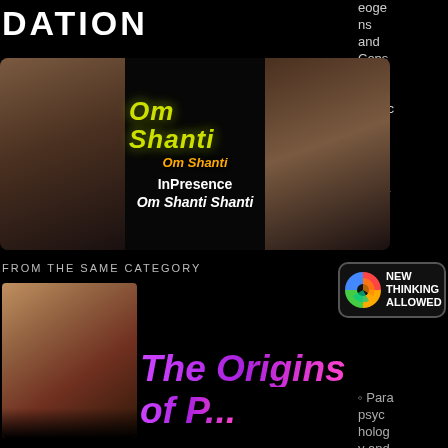DATION
eoge ns and Cons cious ness - Psyc holog y and Psyc hoth erapy
[Figure (photo): Two faces side by side with Om Shanti text overlay, InPresence label, Om Shanti Shanti subtitle]
FROM THE SAME CATEGORY
[Figure (photo): Man with grey hair smiling]
[Figure (logo): New Thinking Allowed logo with multicolor wheel]
Para psyc holog y and Psyc hical Rese arch
The Origins